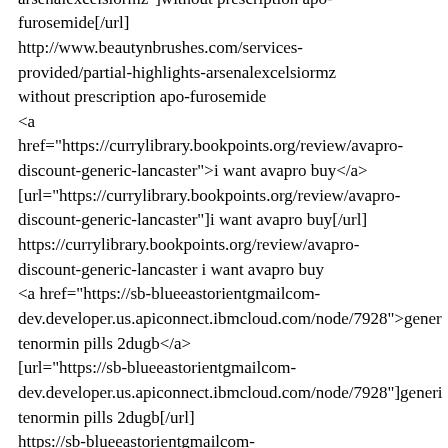provided/partial-highlights arsenalexcelsiormz"]without prescription apo-furosemide[/url] http://www.beautynbrushes.com/services-provided/partial-highlights-arsenalexcelsiormz without prescription apo-furosemide <a href="https://currylibrary.bookpoints.org/review/avapro-discount-generic-lancaster">i want avapro buy</a> [url="https://currylibrary.bookpoints.org/review/avapro-discount-generic-lancaster"]i want avapro buy[/url] https://currylibrary.bookpoints.org/review/avapro-discount-generic-lancaster i want avapro buy <a href="https://sb-blueeastorientgmailcom-dev.developer.us.apiconnect.ibmcloud.com/node/7928">generic tenormin pills 2dugb</a> [url="https://sb-blueeastorientgmailcom-dev.developer.us.apiconnect.ibmcloud.com/node/7928"]generic tenormin pills 2dugb[/url] https://sb-blueeastorientgmailcom-dev.developer.us.apiconnect.ibmcloud.com/node/7928 generic tenormin pills 2dugb <a href="https://grafovaleksey.ru/node/381">evista buying on line</a> [url="https://grafovaleksey.ru/node/381"]evista buying on line[/url]